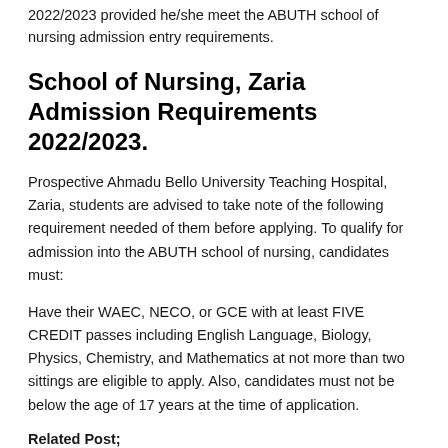2022/2023 provided he/she meet the ABUTH school of nursing admission entry requirements.
School of Nursing, Zaria Admission Requirements 2022/2023.
Prospective Ahmadu Bello University Teaching Hospital, Zaria, students are advised to take note of the following requirement needed of them before applying. To qualify for admission into the ABUTH school of nursing, candidates must:
Have their WAEC, NECO, or GCE with at least FIVE CREDIT passes including English Language, Biology, Physics, Chemistry, and Mathematics at not more than two sittings are eligible to apply. Also, candidates must not be below the age of 17 years at the time of application.
Related Post;
ABSUTH School of Nursing Admission Form 2022/2023 Session